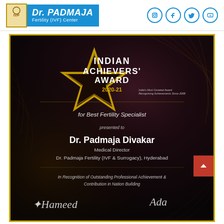Dr. PADMAJA Fertility (IVF) Center
[Figure (photo): Indian Achievers' Award 2020-21 certificate for Best Fertility Specialist presented to Dr. Padmaja Divakar, Medical Director, Dr. Padmaja Fertility (IVF & Surrogacy), Hyderabad. In Recognition of Outstanding Professional Achievement & Contribution in Nation Building. Dark background certificate with gold star logo.]